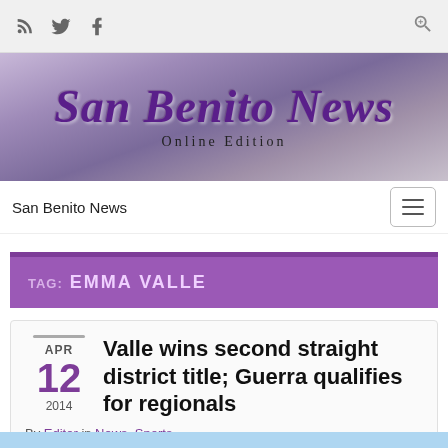Social/RSS icons toolbar
[Figure (screenshot): San Benito News banner with purple gradient background, large italic serif title 'San Benito News' and subtitle 'Online Edition']
San Benito News — navigation bar with hamburger menu
TAG: EMMA VALLE
Valle wins second straight district title; Guerra qualifies for regionals
APR 12 2014
By Editor in News, Sports